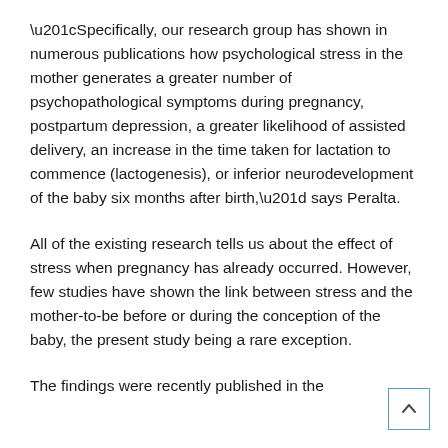“Specifically, our research group has shown in numerous publications how psychological stress in the mother generates a greater number of psychopathological symptoms during pregnancy, postpartum depression, a greater likelihood of assisted delivery, an increase in the time taken for lactation to commence (lactogenesis), or inferior neurodevelopment of the baby six months after birth,” says Peralta.
All of the existing research tells us about the effect of stress when pregnancy has already occurred. However, few studies have shown the link between stress and the mother-to-be before or during the conception of the baby, the present study being a rare exception.
The findings were recently published in the